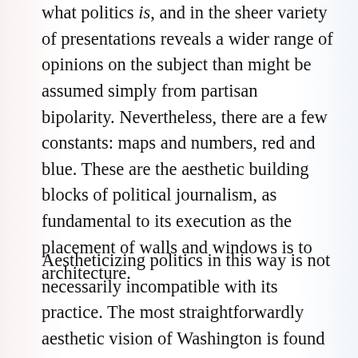what politics is, and in the sheer variety of presentations reveals a wider range of opinions on the subject than might be assumed simply from partisan bipolarity. Nevertheless, there are a few constants: maps and numbers, red and blue. These are the aesthetic building blocks of political journalism, as fundamental to its execution as the placement of walls and windows is to architecture.
Aestheticizing politics in this way is not necessarily incompatible with its practice. The most straightforwardly aesthetic vision of Washington is found on television, where the moody lighting and sappy soundtrack of The